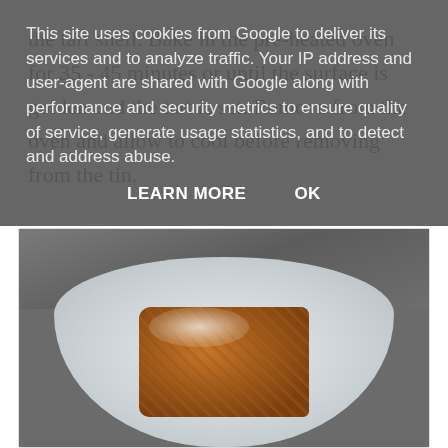the tart shell.  Bake in the pre-heated oven for 35 - 45 minutes or until the surface is golden and the tart is set. Remove from the oven and allow to cool before removing from the tin.
[Figure (photo): A slice of tart with powdered icing sugar on top, served on a decorative white plate with a wooden background]
This site uses cookies from Google to deliver its services and to analyze traffic. Your IP address and user-agent are shared with Google along with performance and security metrics to ensure quality of service, generate usage statistics, and to detect and address abuse.
LEARN MORE    OK